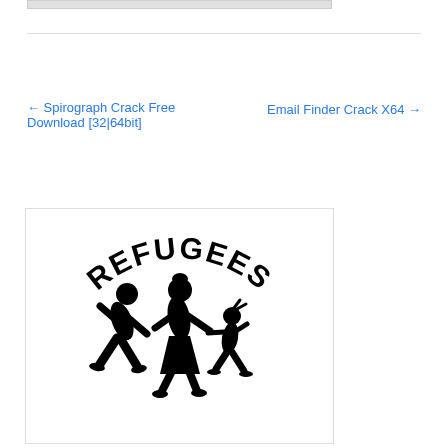[Figure (other): Top image placeholder bar (grey rectangle)]
← Spirograph Crack Free Download [32|64bit]
Email Finder Crack X64 →
[Figure (illustration): Refugees Welcome logo: black silhouette of running family (adult man, adult woman, child) with arched text 'REFUGEES' on top and 'WELCOME' on bottom]